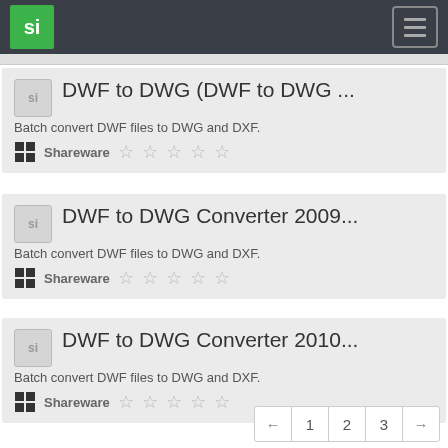si | Navigation menu
DWF to DWG (DWF to DWG ...
Batch convert DWF files to DWG and DXF.
Shareware ☆☆☆☆☆
DWF to DWG Converter 2009...
Batch convert DWF files to DWG and DXF.
Shareware ☆☆☆☆☆
DWF to DWG Converter 2010...
Batch convert DWF files to DWG and DXF.
Shareware ☆☆☆☆☆
← 1 2 3 →